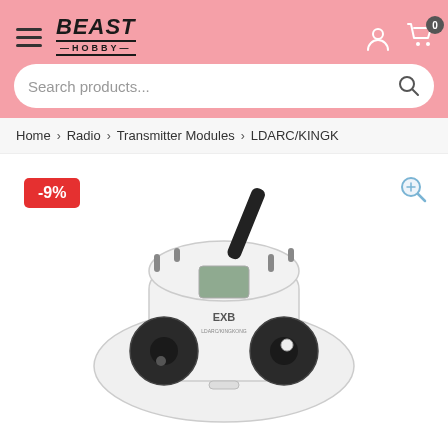Beast Hobby — header with logo, hamburger menu, user icon, cart (0), search bar
Home › Radio › Transmitter Modules › LDARC/KINGK
[Figure (photo): RC radio transmitter (EXB model, white body with black antenna and dual joysticks) with a -9% discount badge in the top left and a zoom magnifier icon in the top right]
-9%